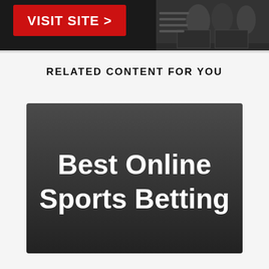[Figure (screenshot): Top portion of a website screenshot showing a dark background with a red 'VISIT SITE >' button on the left and sports imagery on the right]
RELATED CONTENT FOR YOU
[Figure (illustration): Dark gray banner graphic with white bold text reading 'Best Online Sports Betting']